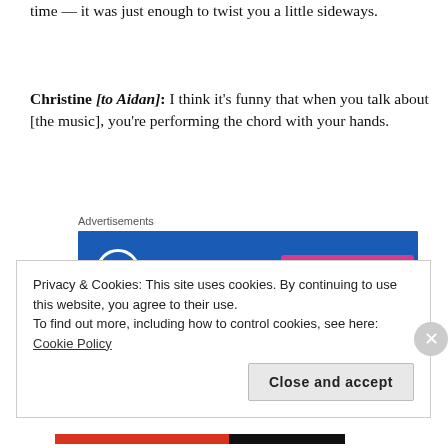time — it was just enough to twist you a little sideways.
Christine [to Aidan]: I think it's funny that when you talk about [the music], you're performing the chord with your hands.
[Figure (other): WordPress.com advertisement banner with blue background, WordPress logo, and 'Build Your Website' pink button]
TW: Next time we're gonna do a video interview.
Privacy & Cookies: This site uses cookies. By continuing to use this website, you agree to their use. To find out more, including how to control cookies, see here: Cookie Policy
Close and accept